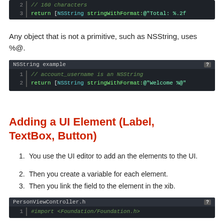[Figure (screenshot): Code block showing line 2 (// 160 characters) and line 3 (return [NSString stringWithFormat:@"Total: %.2f) on dark background]
Any object that is not a primitive, such as NSString, uses %@.
[Figure (screenshot): NSString example code block showing line 1 (// account_username is an NSString) and line 2 (return [NSString stringWithFormat:@"Welcome %@") on dark background]
Adding a UI Element (Label, TextBox, Button)
You use the UI editor to add an the elements to the UI.
Then you create a variable for each element.
Then you link the field to the element in the xib.
[Figure (screenshot): PersonViewController.h code block showing lines 1-8 with @interface PersonViewController: UIViewController, IBOutlet declarations for UILabel *nameLabel, UITextField *nameTextField, UIButton *submitNameButton, and @end]
[Figure (screenshot): PersonViewController.m code block showing line 1 with #import "PersonViewController.h" on dark background]